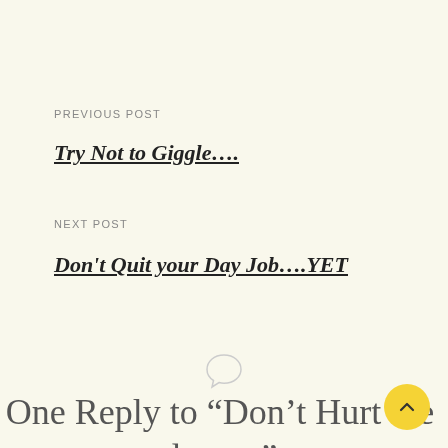PREVIOUS POST
Try Not to Giggle….
NEXT POST
Don't Quit your Day Job….YET
[Figure (illustration): Speech bubble / comment icon outline in light gray]
One Reply to “Don’t Hurt the dog….”